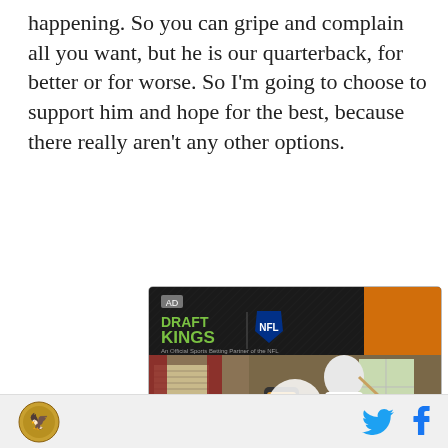happening. So you can gripe and complain all you want, but he is our quarterback, for better or for worse. So I'm going to choose to support him and hope for the best, because there really aren't any other options.
[Figure (screenshot): DraftKings NFL advertisement video player showing a man standing at a pool table in a recreation room. The ad has a DraftKings logo with NFL shield and tagline 'An Official Sports Betting Partner of the NFL'. A play button overlay is visible in the center of the video thumbnail.]
Social sharing icons: Twitter and Facebook